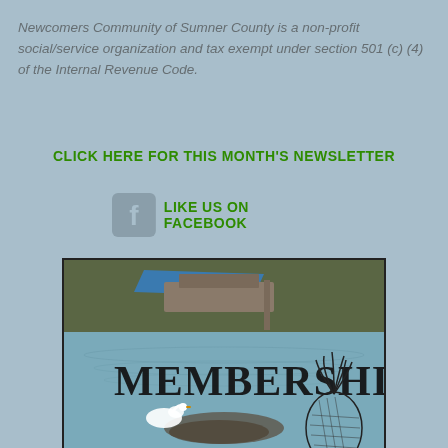Newcomers Community of Sumner County is a non-profit social/service organization and tax exempt under section 501 (c) (4) of the Internal Revenue Code.
CLICK HERE FOR THIS MONTH'S NEWSLETTER
LIKE US ON FACEBOOK
[Figure (photo): Membership promotional image showing a lake scene with a swan, pineapple illustration, and a boat at a dock. Large text reads 'MEMBERSHIP' over the lake scene.]